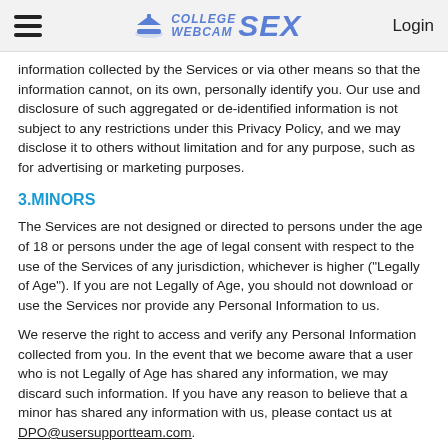College Webcam SEX — Login
information collected by the Services or via other means so that the information cannot, on its own, personally identify you. Our use and disclosure of such aggregated or de-identified information is not subject to any restrictions under this Privacy Policy, and we may disclose it to others without limitation and for any purpose, such as for advertising or marketing purposes.
3.MINORS
The Services are not designed or directed to persons under the age of 18 or persons under the age of legal consent with respect to the use of the Services of any jurisdiction, whichever is higher ("Legally of Age"). If you are not Legally of Age, you should not download or use the Services nor provide any Personal Information to us.
We reserve the right to access and verify any Personal Information collected from you. In the event that we become aware that a user who is not Legally of Age has shared any information, we may discard such information. If you have any reason to believe that a minor has shared any information with us, please contact us at DPO@usersupportteam.com.